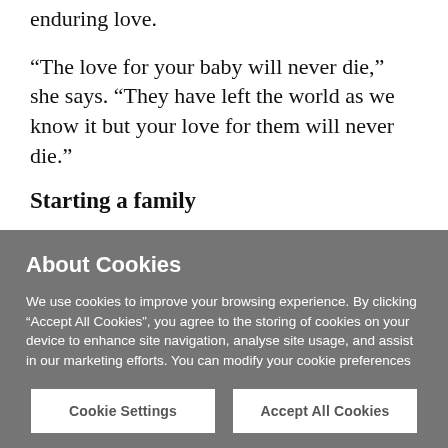enduring love.
“The love for your baby will never die,” she says. “They have left the world as we know it but your love for them will never die.”
Starting a family
Aoife lives in Oldtown, Co Dublin, with her husband Derek Ryan and their three other children, Louis,
About Cookies
We use cookies to improve your browsing experience. By clicking “Accept All Cookies”, you agree to the storing of cookies on your device to enhance site navigation, analyse site usage, and assist in our marketing efforts. You can modify your cookie preferences by clicking on cookie settings within our  Cookie Policy
Cookie Settings
Accept All Cookies